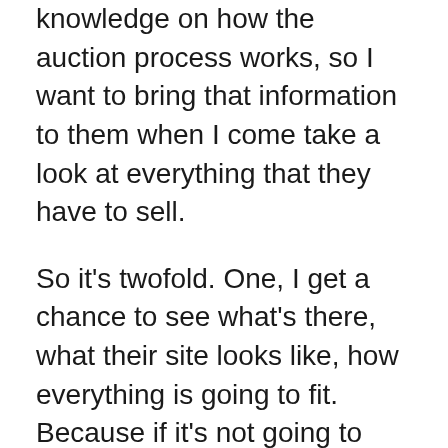knowledge on how the auction process works, so I want to bring that information to them when I come take a look at everything that they have to sell.
So it's twofold. One, I get a chance to see what's there, what their site looks like, how everything is going to fit. Because if it's not going to work for us, then I'm going to communicate that, and there's no harm, no foul. Right? If it's not going to be the right fit, then we just agree that it's not going to be the fit, and everybody moves on. And it saves me. I'm willing to do that. It saves me the time and the energy of getting into something that we should have never